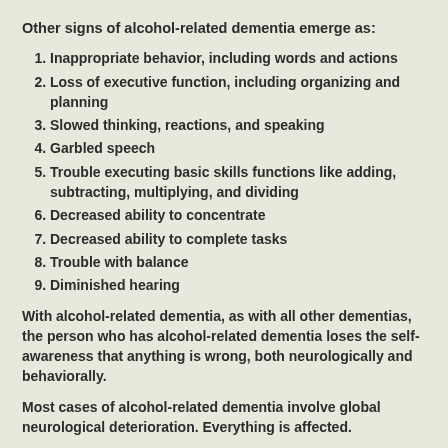Other signs of alcohol-related dementia emerge as:
Inappropriate behavior, including words and actions
Loss of executive function, including organizing and planning
Slowed thinking, reactions, and speaking
Garbled speech
Trouble executing basic skills functions like adding, subtracting, multiplying, and dividing
Decreased ability to concentrate
Decreased ability to complete tasks
Trouble with balance
Diminished hearing
With alcohol-related dementia, as with all other dementias, the person who has alcohol-related dementia loses the self-awareness that anything is wrong, both neurologically and behaviorally.
Most cases of alcohol-related dementia involve global neurological deterioration. Everything is affected.